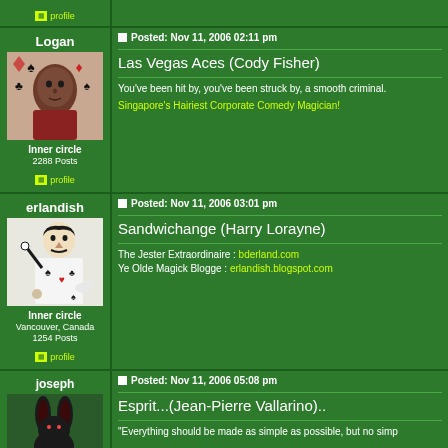profile
Logan
Inner circle
2288 Posts
profile
Posted: Nov 11, 2006 02:11 pm
Las Vegas Aces (Cody Fisher)
You've been hit by, you've been struck by, a smooth criminal.
Singapore's Hairiest Corporate Comedy Magician!
erlandish
Inner circle
Vancouver, Canada
1254 Posts
profile
Posted: Nov 11, 2006 03:01 pm
Sandwichange (Harry Lorayne)
The Jester Extraordinaire : bderland.com
Ye Olde Magick Blogge : erlandish.blogspot.com
joseph
Posted: Nov 11, 2006 05:08 pm
Esprit...(Jean-Pierre Vallarino)..
"Everything should be made as simple as possible, but no simp